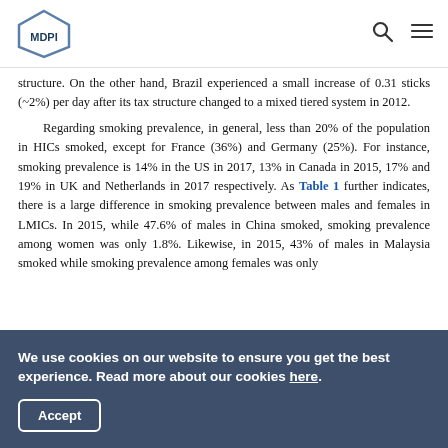MDPI [logo] [search icon] [menu icon]
structure. On the other hand, Brazil experienced a small increase of 0.31 sticks (~2%) per day after its tax structure changed to a mixed tiered system in 2012.
    Regarding smoking prevalence, in general, less than 20% of the population in HICs smoked, except for France (36%) and Germany (25%). For instance, smoking prevalence is 14% in the US in 2017, 13% in Canada in 2015, 17% and 19% in UK and Netherlands in 2017 respectively. As Table 1 further indicates, there is a large difference in smoking prevalence between males and females in LMICs. In 2015, while 47.6% of males in China smoked, smoking prevalence among women was only 1.8%. Likewise, in 2015, 43% of males in Malaysia smoked while smoking prevalence among females was only
We use cookies on our website to ensure you get the best experience. Read more about our cookies here.
Accept